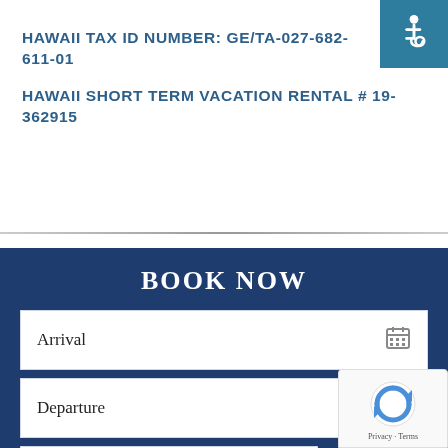HAWAII TAX ID NUMBER: GE/TA-027-682-611-01
HAWAII SHORT TERM VACATION RENTAL # 19-362915
BOOK NOW
Arrival
Departure
Adults